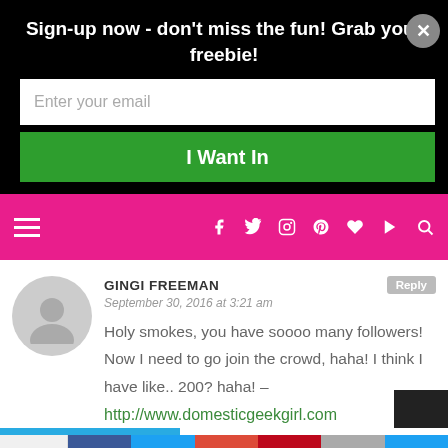Sign-up now - don't miss the fun! Grab your freebie!
[Figure (screenshot): Email signup form with text input 'Enter your email' and green button 'I Want In']
[Figure (screenshot): Pink navigation bar with hamburger menu and social media icons (Facebook, Twitter, Instagram, Pinterest, heart, YouTube, search)]
GINGI FREEMAN
September 30, 2016 at 3:21 am
Holy smokes, you have soooo many followers! Now I need to go join the crowd, haha! I think I have like.. 200? haha! –
http://www.domesticgeekgirl.com
[Figure (screenshot): Social share bar at bottom with Shares label, Facebook, Twitter, Google+, Pinterest, Email, and crown icon buttons]